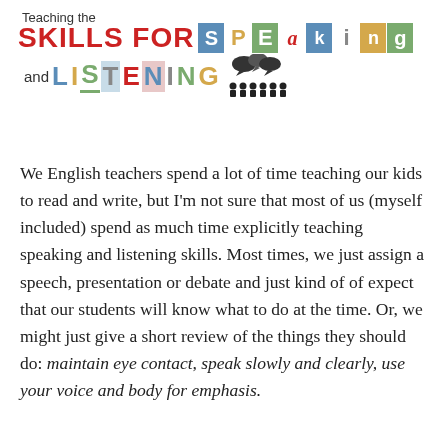[Figure (logo): Decorative title logo reading 'Teaching the SKILLS FOR SPEAKING and LISTENING' with colorful tiled letters and speech bubble/people icons]
We English teachers spend a lot of time teaching our kids to read and write, but I'm not sure that most of us (myself included) spend as much time explicitly teaching speaking and listening skills. Most times, we just assign a speech, presentation or debate and just kind of expect that our students will know what to do at the time. Or, we might just give a short review of the things they should do: maintain eye contact, speak slowly and clearly, use your voice and body for emphasis.